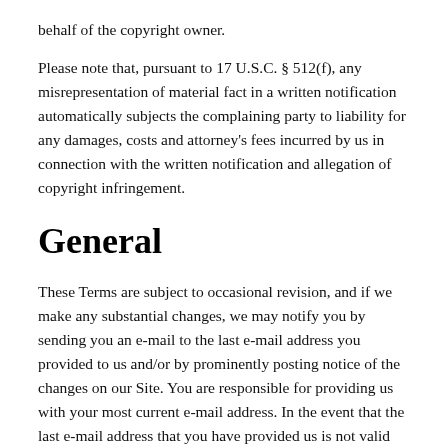behalf of the copyright owner.
Please note that, pursuant to 17 U.S.C. § 512(f), any misrepresentation of material fact in a written notification automatically subjects the complaining party to liability for any damages, costs and attorney's fees incurred by us in connection with the written notification and allegation of copyright infringement.
General
These Terms are subject to occasional revision, and if we make any substantial changes, we may notify you by sending you an e-mail to the last e-mail address you provided to us and/or by prominently posting notice of the changes on our Site. You are responsible for providing us with your most current e-mail address. In the event that the last e-mail address that you have provided us is not valid our dispatch of the e-mail containing such notice will nonetheless constitute effective notice of the changes described in the notice. Any changes to these Terms will be effective upon the earliest of thirty (30) calendar days